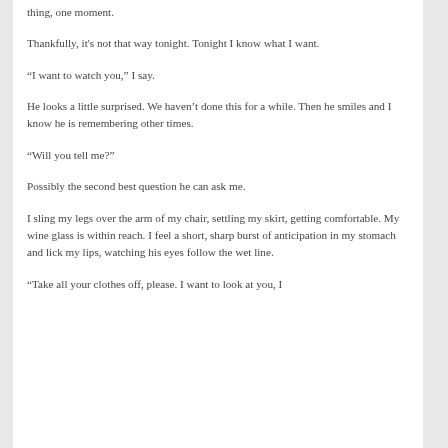thing, one moment.
Thankfully, it's not that way tonight. Tonight I know what I want.
“I want to watch you,” I say.
He looks a little surprised. We haven’t done this for a while. Then he smiles and I know he is remembering other times.
“Will you tell me?”
Possibly the second best question he can ask me.
I sling my legs over the arm of my chair, settling my skirt, getting comfortable. My wine glass is within reach. I feel a short, sharp burst of anticipation in my stomach and lick my lips, watching his eyes follow the wet line.
“Take all your clothes off, please. I want to look at you, I